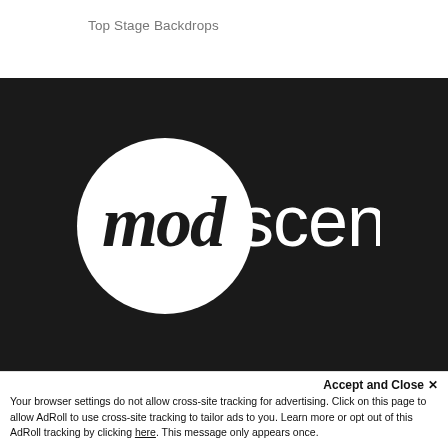Top Stage Backdrops
[Figure (logo): ModScenes logo: white circle with cursive 'mod' text inside, followed by 'scenes' in sans-serif, on dark background]
Creations
Products
Testimonials
Contact Us
Accept and Close ✕
Your browser settings do not allow cross-site tracking for advertising. Click on this page to allow AdRoll to use cross-site tracking to tailor ads to you. Learn more or opt out of this AdRoll tracking by clicking here. This message only appears once.